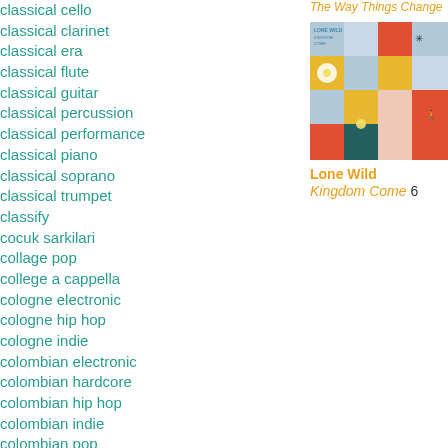classical cello
classical clarinet
classical era
classical flute
classical guitar
classical percussion
classical performance
classical piano
classical soprano
classical trumpet
classify
cocuk sarkilari
collage pop
college a cappella
cologne electronic
cologne hip hop
cologne indie
colombian electronic
colombian hardcore
colombian hip hop
colombian indie
colombian pop
colombian rock
comedie musicale
comedy
The Way Things Change
[Figure (photo): Album cover art for Lone Wild - Kingdom Come, showing a colorful patchwork grid of squares in blue, red, yellow, teal, pink, and grey with small illustrated elements like a daisy, star, shell, and figure.]
Lone Wild
Kingdom Come 6